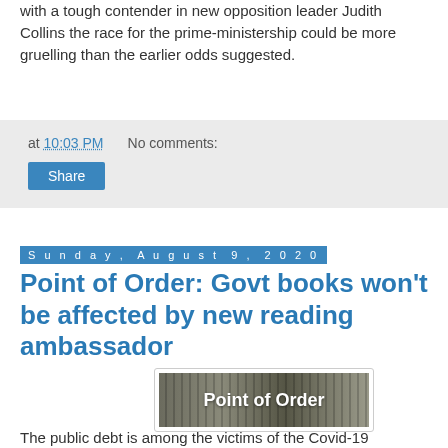with a tough contender in new opposition leader Judith Collins the race for the prime-ministership could be more gruelling than the earlier odds suggested.
at 10:03 PM   No comments:
Share
Sunday, August 9, 2020
Point of Order: Govt books won’t be affected by new reading ambassador
[Figure (logo): Point of Order logo — white text on a dark grey/brown textured background with vertical stripe pattern]
The public debt is among the victims of the Covid-19 epidemic